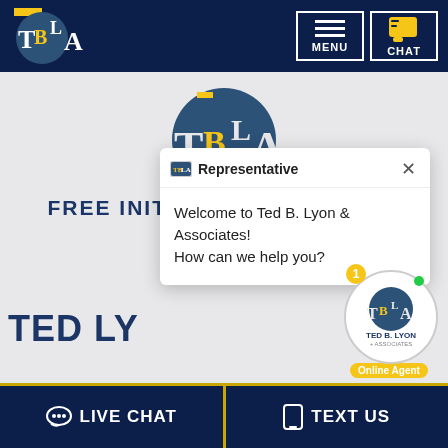[Figure (logo): TBLA Ted B. Lyon & Associates logo in navy header bar with MENU and CHAT buttons]
[Figure (logo): Large TBLA circular logo centered on grey background]
FREE INITIAL CONSULTATION
[Figure (screenshot): Chat popup with Representative header showing: Welcome to Ted B. Lyon & Associates! How can we help you?]
TED LY... THE FOLLOWING LOCATIONS
Ft. Worth
Dallas
[Figure (logo): TBLA chat widget with Online Agent badge and green dot]
LIVE CHAT   TEXT US